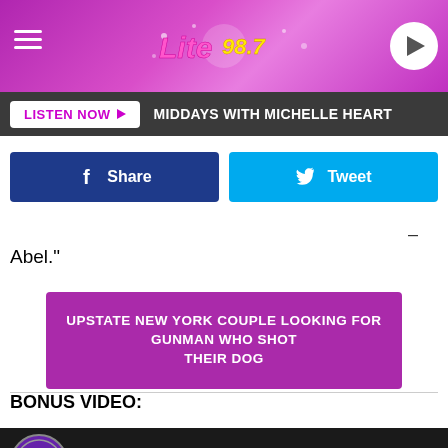[Figure (screenshot): Lite 98.7 radio station header banner with pink/purple gradient background, hamburger menu icon on left, Lite 98.7 logo in center, play button circle on right]
LISTEN NOW ▶  MIDDAYS WITH MICHELLE HEART
[Figure (screenshot): Facebook Share button (dark blue) and Twitter Tweet button (cyan blue) side by side]
–
Abel."
UPSTATE NEW YORK COUPLE LOOKING FOR GUNMAN WHO SHOT THEIR DOG
BONUS VIDEO:
[Figure (screenshot): YouTube video thumbnail showing 'More Central New York Word Associati...' with Lite 98.7 logo circle on left, video title in center, three-dot menu on right, dark background with person smiling]